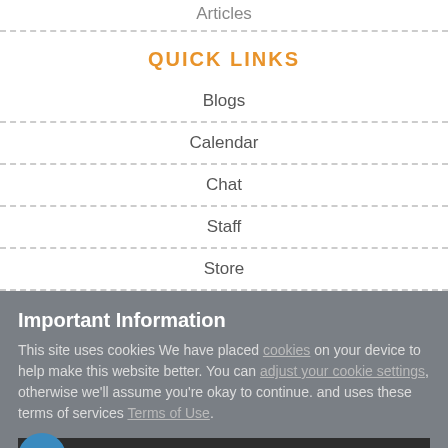Articles
QUICK LINKS
Blogs
Calendar
Chat
Staff
Store
Important Information This site uses cookies We have placed cookies on your device to help make this website better. You can adjust your cookie settings, otherwise we'll assume you're okay to continue. and uses these terms of services Terms of Use.
✓  I accept